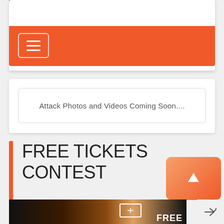[Figure (screenshot): Orange top accent bar at top of page]
[Figure (screenshot): White card with orange navigation hamburger menu bar]
Attack Photos and Videos Coming Soon....
FREE TICKETS CONTEST
[Figure (screenshot): Orange scroll-up button with upward arrow icon]
[Figure (photo): Bottom strip showing a cat with blue eyes on dark background with FREE text and ticket icon, plus share icon]